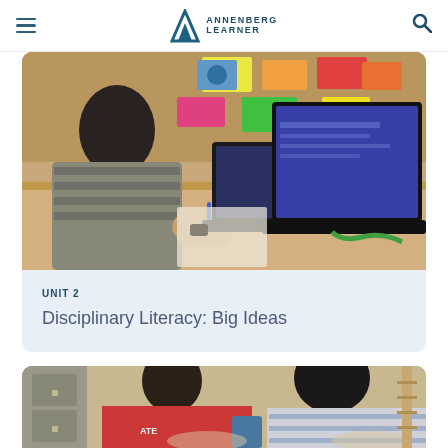ANNENBERG LEARNER
[Figure (photo): A teenage student sitting at a desk writing on paper with two open laptops in front of him, in a classroom with a corkboard covered in colorful sticky notes in the background.]
UNIT 2
Disciplinary Literacy: Big Ideas
[Figure (photo): Two students sitting at desks and writing; one wearing a red shirt, the other in a striped shirt, in a classroom setting.]